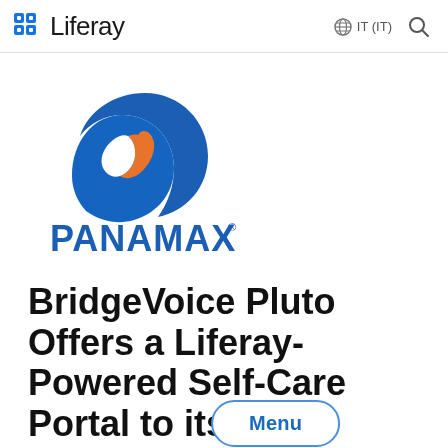Liferay  IT (IT)
[Figure (logo): Panamax logo: blue circular swoosh with orange flame element, and PANAMAX text in bold blue capital letters with registered trademark symbol]
BridgeVoice Pluto Offers a Liferay-Powered Self-Care Portal to its Customers